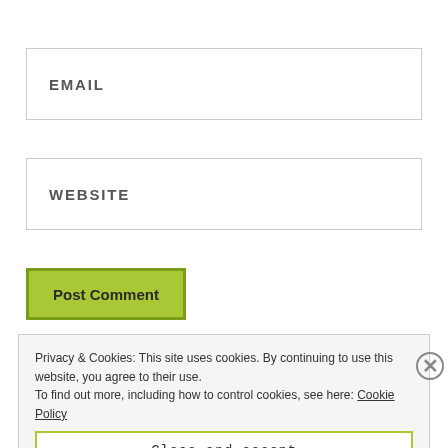EMAIL
WEBSITE
Post Comment
Privacy & Cookies: This site uses cookies. By continuing to use this website, you agree to their use.
To find out more, including how to control cookies, see here: Cookie Policy
Close and accept